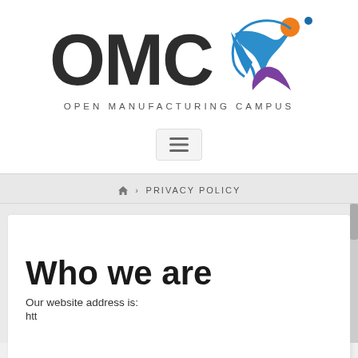[Figure (logo): OMC Open Manufacturing Campus logo with stylized human figure in blue, purple, and orange]
[Figure (screenshot): Hamburger menu button (three horizontal lines) in a rounded rectangle]
🏠 > PRIVACY POLICY
Who we are
Our website address is:
htt...